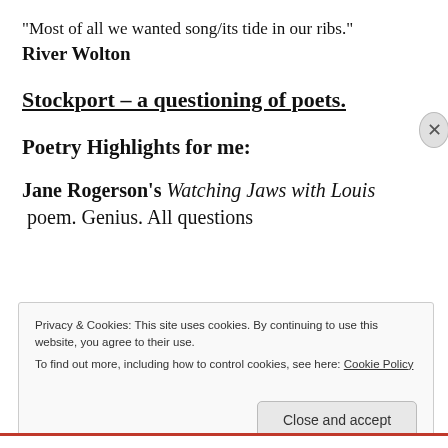“Most of all we wanted song/its tide in our ribs.”
River Wolton
Stockport – a questioning of poets.
Poetry Highlights for me:
Jane Rogerson’s Watching Jaws with Louis poem. Genius. All questions
Privacy & Cookies: This site uses cookies. By continuing to use this website, you agree to their use.
To find out more, including how to control cookies, see here: Cookie Policy
Close and accept